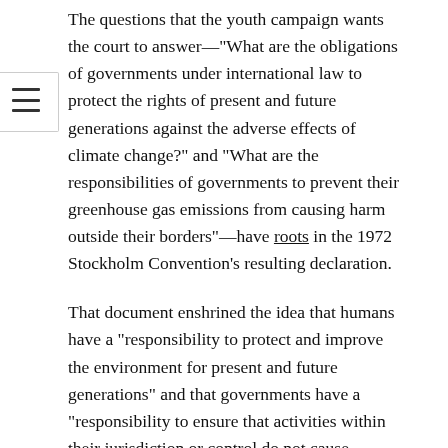The questions that the youth campaign wants the court to answer—"What are the obligations of governments under international law to protect the rights of present and future generations against the adverse effects of climate change?" and "What are the responsibilities of governments to prevent their greenhouse gas emissions from causing harm outside their borders"—have roots in the 1972 Stockholm Convention's resulting declaration.
That document enshrined the idea that humans have a "responsibility to protect and improve the environment for present and future generations" and that governments have a "responsibility to ensure that activities within their jurisdiction or control do not cause damage to the environment of other States or of areas beyond the limits of national jurisdiction."